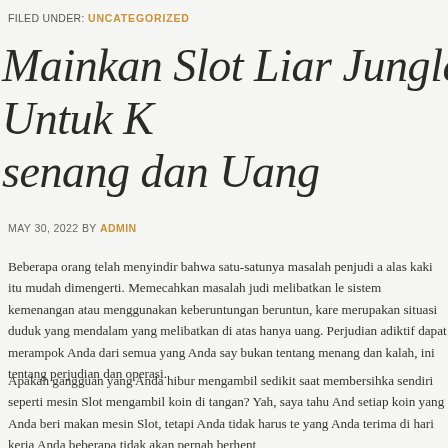FILED UNDER: UNCATEGORIZED
Mainkan Slot Liar Jungle Untuk Kesenang dan Uang
MAY 30, 2022 BY ADMIN
Beberapa orang telah menyindir bahwa satu-satunya masalah penjudi a alas kaki itu mudah dimengerti. Memecahkan masalah judi melibatkan le sistem kemenangan atau menggunakan keberuntungan beruntun, kare merupakan situasi duduk yang mendalam yang melibatkan di atas hany uang. Perjudian adiktif dapat merampok Anda dari semua yang Anda say bukan tentang menang dan kalah, ini tentang perjudian dan operasi.
Apakah gangguan yang Anda hibur mengambil sedikit saat membersihka sendiri seperti mesin Slot mengambil koin di tangan? Yah, saya tahu And setiap koin yang Anda beri makan mesin Slot, tetapi Anda tidak harus te yang Anda terima di hari kerja Anda beberapa tidak akan pernah berhent